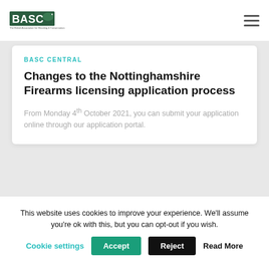[Figure (logo): BASC logo — green rectangle with white 'BASC' text and a dog/bird illustration. Tagline: 'The British Association for Shooting & Conservation']
BASC CENTRAL
Changes to the Nottinghamshire Firearms licensing application process
From Monday 4th October 2021, you can submit your application online through our application portal.
This website uses cookies to improve your experience. We'll assume you're ok with this, but you can opt-out if you wish.
Cookie settings  Accept  Reject  Read More